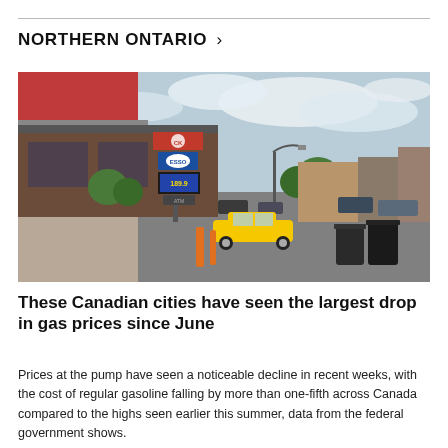NORTHERN ONTARIO >
[Figure (photo): Street scene showing a gas station with Circle K and Esso signs and a yellow sports car driving on a Canadian downtown street on a partly cloudy day.]
These Canadian cities have seen the largest drop in gas prices since June
Prices at the pump have seen a noticeable decline in recent weeks, with the cost of regular gasoline falling by more than one-fifth across Canada compared to the highs seen earlier this summer, data from the federal government shows.